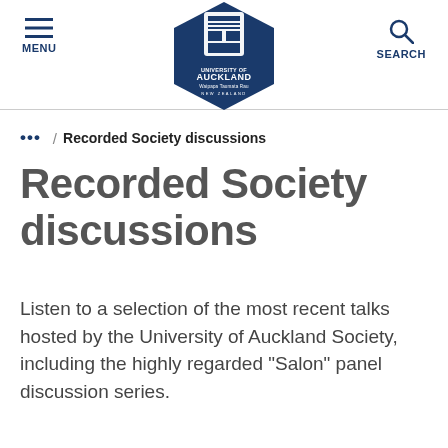MENU | University of Auckland logo | SEARCH
... / Recorded Society discussions
Recorded Society discussions
Listen to a selection of the most recent talks hosted by the University of Auckland Society, including the highly regarded “Salon” panel discussion series.